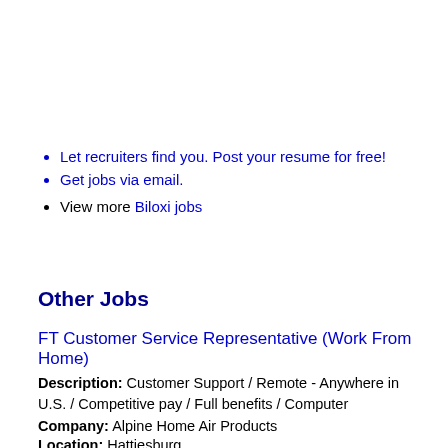Let recruiters find you. Post your resume for free!
Get jobs via email.
View more Biloxi jobs
Other Jobs
FT Customer Service Representative (Work From Home)
Description: Customer Support / Remote - Anywhere in U.S. / Competitive pay / Full benefits / Computer
Company: Alpine Home Air Products
Location: Hattiesburg